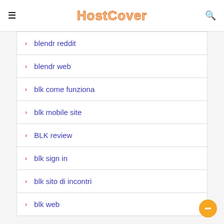HostCover
blendr reddit
blendr web
blk come funziona
blk mobile site
BLK review
blk sign in
blk sito di incontri
blk web